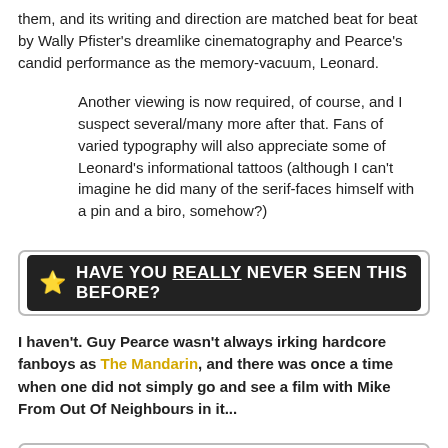them, and its writing and direction are matched beat for beat by Wally Pfister's dreamlike cinematography and Pearce's candid performance as the memory-vacuum, Leonard.
Another viewing is now required, of course, and I suspect several/many more after that. Fans of varied typography will also appreciate some of Leonard's informational tattoos (although I can't imagine he did many of the serif-faces himself with a pin and a biro, somehow?)
★ HAVE YOU REALLY NEVER SEEN THIS BEFORE?
I haven't. Guy Pearce wasn't always irking hardcore fanboys as The Mandarin, and there was once a time when one did not simply go and see a film with Mike From Out Of Neighbours in it...
★ SO ARE YOU GLAD YOU FINALLY HAVE?
I am.